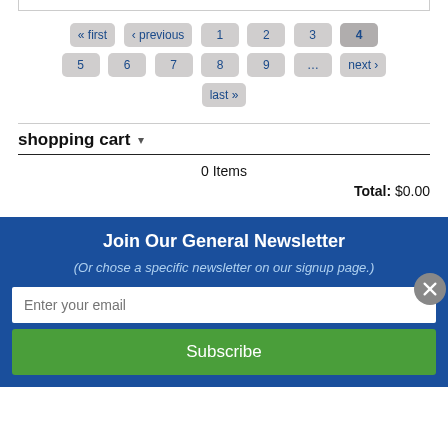[Figure (other): Pagination navigation with buttons: « first, ‹ previous, 1, 2, 3, 4 (active/bold), 5, 6, 7, 8, 9, ..., next ›, last »]
shopping cart ▼
0 Items
Total: $0.00
Join Our General Newsletter
(Or chose a specific newsletter on our signup page.)
Enter your email
Subscribe